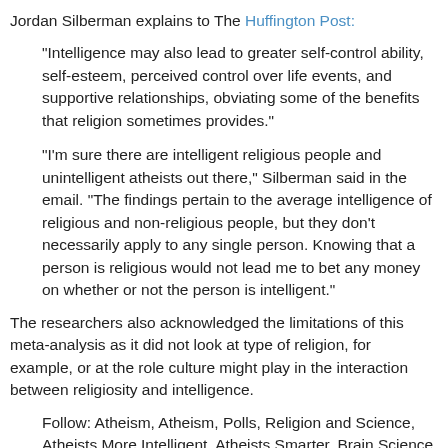Jordan Silberman explains to The Huffington Post:
"Intelligence may also lead to greater self-control ability, self-esteem, perceived control over life events, and supportive relationships, obviating some of the benefits that religion sometimes provides."
"I'm sure there are intelligent religious people and unintelligent atheists out there," Silberman said in the email. "The findings pertain to the average intelligence of religious and non-religious people, but they don't necessarily apply to any single person. Knowing that a person is religious would not lead me to bet any money on whether or not the person is intelligent."
The researchers also acknowledged the limitations of this meta-analysis as it did not look at type of religion, for example, or at the role culture might play in the interaction between religiosity and intelligence.
Follow: Atheism,  Atheism,  Polls,  Religion and Science, Atheists More Intelligent,  Atheists Smarter,  Brain Science